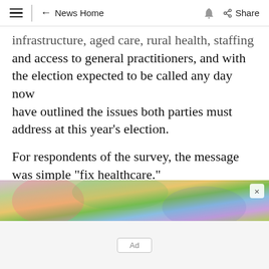≡ | ← News Home 🔔 Share
infrastructure, aged care, rural health, staffing and access to general practitioners, and with the election expected to be called any day now have outlined the issues both parties must address at this year's election.
For respondents of the survey, the message was simple "fix healthcare."
READ THE FULL ANALYSIS HERE.
[Figure (photo): Partial view of a colourful scene with rainbow tie-dye and blurred outdoor background, partially obscured by an advertisement overlay with close button.]
Ad